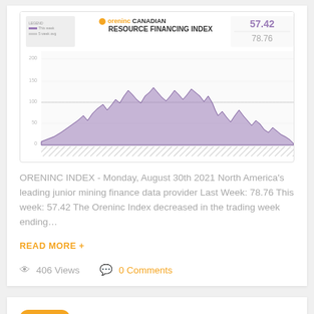[Figure (continuous-plot): Oreninc Canadian Resource Financing Index chart showing index values over time, with current value 57.42 and last week 78.76. Purple area chart with historical data.]
ORENINC INDEX - Monday, August 30th 2021 North America's leading junior mining finance data provider Last Week: 78.76 This week: 57.42 The Oreninc Index decreased in the trading week ending…
READ MORE +
406 Views   0 Comments
23
AUGUST 2021